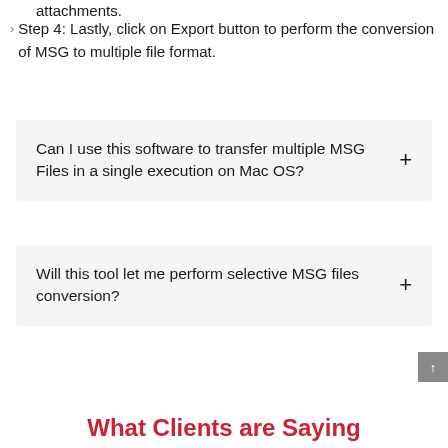attachments.
Step 4: Lastly, click on Export button to perform the conversion of MSG to multiple file format.
Can I use this software to transfer multiple MSG Files in a single execution on Mac OS?
Will this tool let me perform selective MSG files conversion?
What Clients are Saying